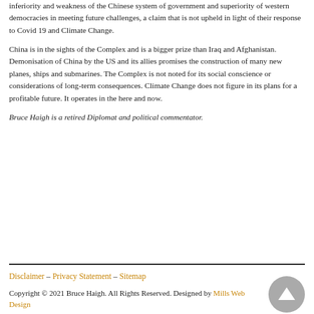inferiority and weakness of the Chinese system of government and superiority of western democracies in meeting future challenges, a claim that is not upheld in light of their response to Covid 19 and Climate Change.
China is in the sights of the Complex and is a bigger prize than Iraq and Afghanistan. Demonisation of China by the US and its allies promises the construction of many new planes, ships and submarines. The Complex is not noted for its social conscience or considerations of long-term consequences. Climate Change does not figure in its plans for a profitable future. It operates in the here and now.
Bruce Haigh is a retired Diplomat and political commentator.
Disclaimer – Privacy Statement – Sitemap
Copyright © 2021 Bruce Haigh. All Rights Reserved. Designed by Mills Web Design